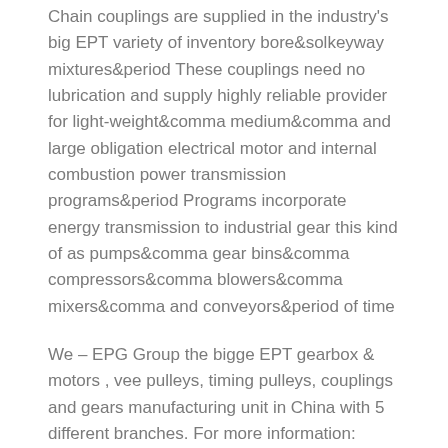Chain couplings are supplied in the industry's big EPT variety of inventory bore&solkeyway mixtures&period These couplings need no lubrication and supply highly reliable provider for light-weight&comma medium&comma and large obligation electrical motor and internal combustion power transmission programs&period Programs incorporate energy transmission to industrial gear this kind of as pumps&comma gear bins&comma compressors&comma blowers&comma mixers&comma and conveyors&period of time
We – EPG Group the bigge EPT gearbox & motors , vee pulleys, timing pulleys, couplings and gears manufacturing unit in China with 5 different branches. For more information: Cellular/whatsapp/telegram/Kakao us at: 0086~13083988828 13858117778 0571 88828 The use of first products manufacturer's (OEM) portion